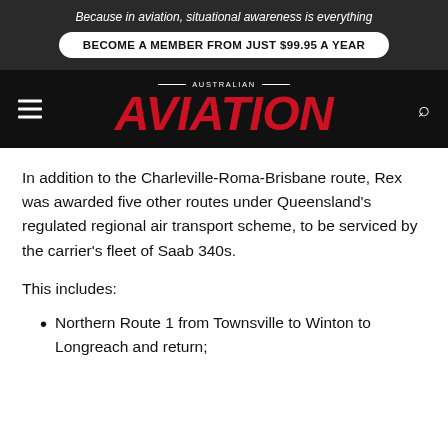Because in aviation, situational awareness is everything
BECOME A MEMBER FROM JUST $99.95 A YEAR
[Figure (logo): Australian Aviation magazine logo with red italic AVIATION text on black background, with hamburger menu icon on left and search icon on right]
In addition to the Charleville-Roma-Brisbane route, Rex was awarded five other routes under Queensland's regulated regional air transport scheme, to be serviced by the carrier's fleet of Saab 340s.
This includes:
Northern Route 1 from Townsville to Winton to Longreach and return;